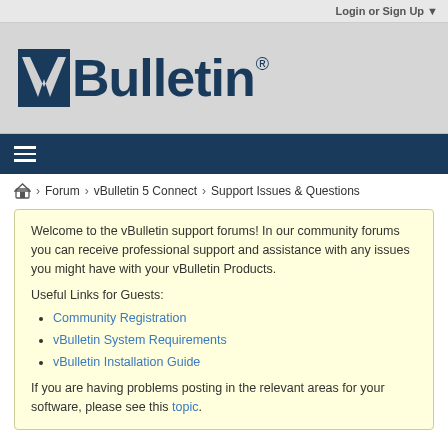Login or Sign Up ▼
[Figure (logo): vBulletin logo with stylized 'v' icon and bold text]
≡ (hamburger/navigation menu icon)
🏠 > Forum > vBulletin 5 Connect > Support Issues & Questions
Welcome to the vBulletin support forums! In our community forums you can receive professional support and assistance with any issues you might have with your vBulletin Products.

Useful Links for Guests:
• Community Registration
• vBulletin System Requirements
• vBulletin Installation Guide

If you are having problems posting in the relevant areas for your software, please see this topic.
Vbulletin 5.4 Facebook Connect Secure Error